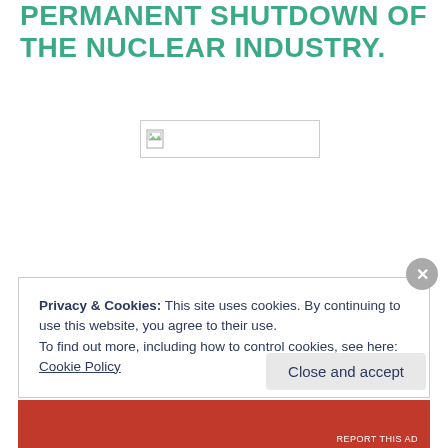PERMANENT SHUTDOWN OF THE NUCLEAR INDUSTRY.
[Figure (other): Broken image placeholder with small icon]
Privacy & Cookies: This site uses cookies. By continuing to use this website, you agree to their use.
To find out more, including how to control cookies, see here: Cookie Policy
Close and accept